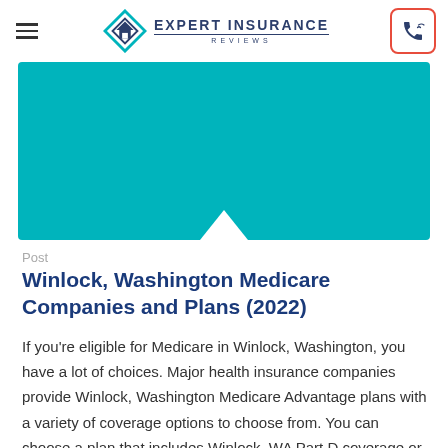Expert Insurance Reviews
[Figure (illustration): Teal/turquoise hero banner rectangle with a white downward pointing notch cutout at the bottom center]
Post
Winlock, Washington Medicare Companies and Plans (2022)
If you're eligible for Medicare in Winlock, Washington, you have a lot of choices. Major health insurance companies provide Winlock, Washington Medicare Advantage plans with a variety of coverage options to choose from. You can choose a plan that includes Winlock, WA Part D coverage or buy prescription coverage as a standalone policy. Winlock, Washington…